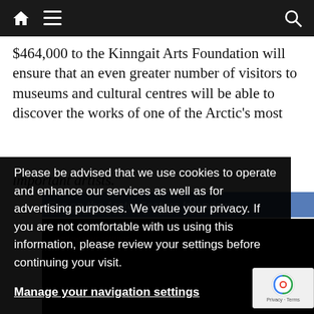Navigation bar with home icon, hamburger menu, and search icon
$464,000 to the Kinngait Arts Foundation will ensure that an even greater number of visitors to museums and cultural centres will be able to discover the works of one of the Arctic's most important artists."
Please be advised that we use cookies to operate and enhance our services as well as for advertising purposes. We value your privacy. If you are not comfortable with us using this information, please review your settings before continuing your visit.
Manage your navigation settings
Find out more